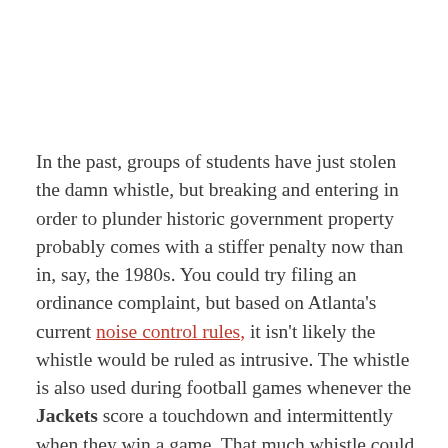In the past, groups of students have just stolen the damn whistle, but breaking and entering in order to plunder historic government property probably comes with a stiffer penalty now than in, say, the 1980s. You could try filing an ordinance complaint, but based on Atlanta's current noise control rules, it isn't likely the whistle would be ruled as intrusive. The whistle is also used during football games whenever the Jackets score a touchdown and intermittently when they win a game. That much whistle could probably qualify as a noise violation, but it's unlikely to solve your daytime issues.